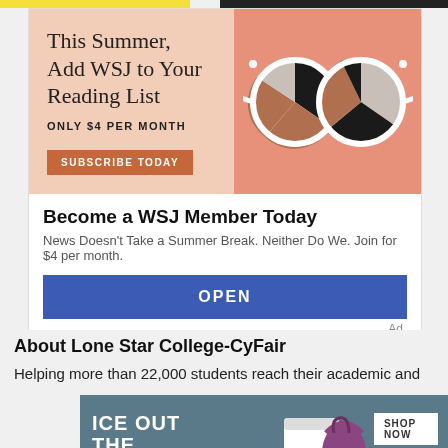[Figure (illustration): WSJ subscription advertisement banner with salmon/peach background, showing text 'This Summer, Add WSJ to Your Reading List', 'ONLY $4 PER MONTH', 'SUBSCRIBE TODAY' button, and illustrated sunglasses with pie-chart pattern lenses on orange background]
Become a WSJ Member Today
News Doesn't Take a Summer Break. Neither Do We. Join for $4 per month.
OPEN
Ad
About Lone Star College-CyFair
Helping more than 22,000 students reach their academic and
[Figure (illustration): YETI advertisement with teal/dark blue background, text 'ICE OUT THE COMPETITION', showing YETI products (cooler, bag, tumbler), 'SHOP NOW' button, and YETI logo]